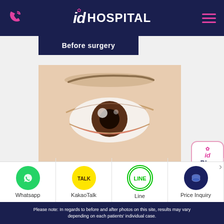id HOSPITAL
Before surgery
[Figure (illustration): Medical illustration of a human eye with eyelid, showing detailed anatomy including iris, pupil, and lower eyelid area with pinkish-red inner lid tissue visible, relevant to eye surgery procedure.]
Minimal incision
[Figure (photo): Partial view of an eye area with skin and eyebrow, possibly showing surgical context.]
Whatsapp
KakaoTalk
Line
Price Inquiry
Please note: In regards to before and after photos on this site, results may vary depending on each patients' individual case.